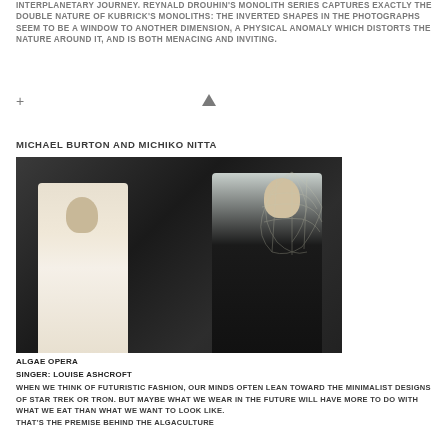INTERPLANETARY JOURNEY. REYNALD DROUHIN'S MONOLITH SERIES CAPTURES EXACTLY THE DOUBLE NATURE OF KUBRICK'S MONOLITHS: THE INVERTED SHAPES IN THE PHOTOGRAPHS SEEM TO BE A WINDOW TO ANOTHER DIMENSION, A PHYSICAL ANOMALY WHICH DISTORTS THE NATURE AROUND IT, AND IS BOTH MENACING AND INVITING.
+ ▲
MICHAEL BURTON AND MICHIKO NITTA
[Figure (photo): Two people in a dark studio setting. On the left, a bald man in a white chef's coat holds an object. On the right, a woman in a black dress wears an elaborate wire/net headpiece that extends over her head and body.]
ALGAE OPERA
SINGER: LOUISE ASHCROFT
WHEN WE THINK OF FUTURISTIC FASHION, OUR MINDS OFTEN LEAN TOWARD THE MINIMALIST DESIGNS OF STAR TREK OR TRON. BUT MAYBE WHAT WE WEAR IN THE FUTURE WILL HAVE MORE TO DO WITH WHAT WE EAT THAN WHAT WE WANT TO LOOK LIKE.
THAT'S THE PREMISE BEHIND THE ALGACULTURE